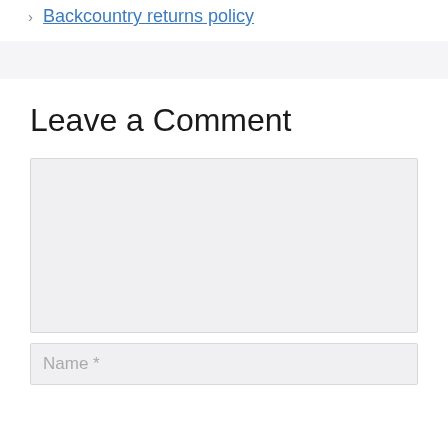Backcountry returns policy
Leave a Comment